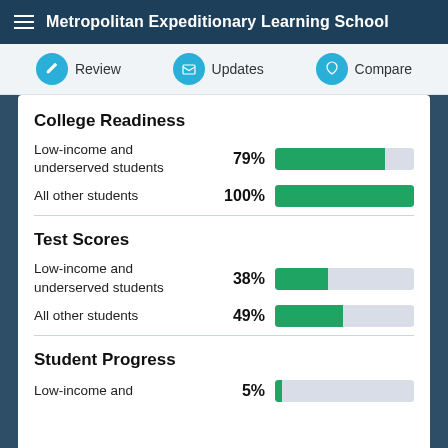Metropolitan Expeditionary Learning School
Review | Updates | Compare
College Readiness
[Figure (bar-chart): College Readiness]
Test Scores
[Figure (bar-chart): Test Scores]
Student Progress
[Figure (bar-chart): Student Progress]